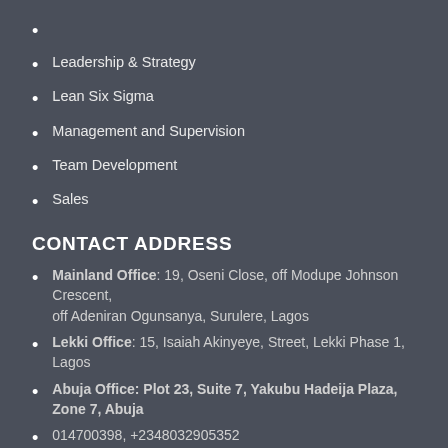Leadership & Strategy
Lean Six Sigma
Management and Supervision
Team Development
Sales
CONTACT ADDRESS
Mainland Office: 19, Oseni Close, off Modupe Johnson Crescent, off Adeniran Ogunsanya, Surulere, Lagos
Lekki Office: 15, Isaiah Akinyeye, Street, Lekki Phase 1, Lagos
Abuja Office: Plot 23, Suite 7, Yakubu Hadeija Plaza, Zone 7, Abuja
014700398, +2348032905352